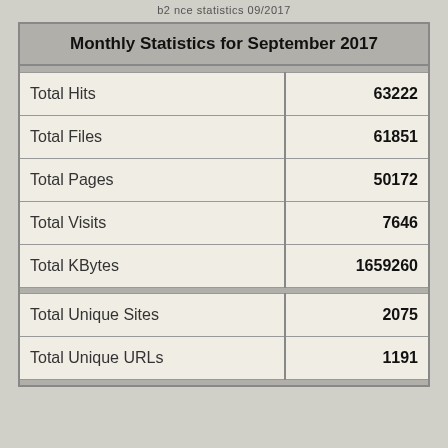b2 nce statistics 09/2017
| Monthly Statistics for September 2017 |  |
| --- | --- |
| Total Hits | 63222 |
| Total Files | 61851 |
| Total Pages | 50172 |
| Total Visits | 7646 |
| Total KBytes | 1659260 |
| Total Unique Sites | 2075 |
| Total Unique URLs | 1191 |